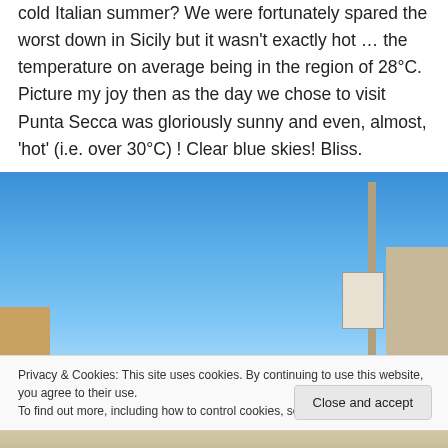cold Italian summer?  We were fortunately spared the worst down in Sicily but it wasn't exactly hot … the temperature on average being in the region of 28°C.  Picture my joy then as the day we chose to visit Punta Secca was gloriously sunny and even, almost, 'hot' (i.e. over 30°C) ! Clear blue skies! Bliss.
[Figure (photo): Outdoor photo showing a clear blue sky, a utility pole with a sign attached, a beige building on the right, and a small building on the lower left.]
Privacy & Cookies: This site uses cookies. By continuing to use this website, you agree to their use.
To find out more, including how to control cookies, see here: Cookie Policy
[Figure (photo): Bottom strip of a photo showing sandy/paved ground.]